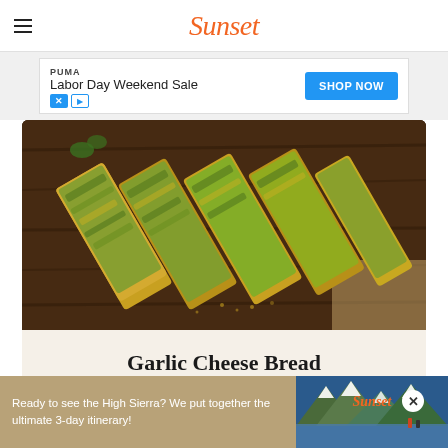Sunset
[Figure (screenshot): PUMA Labor Day Weekend Sale advertisement banner with blue SHOP NOW button]
[Figure (photo): Garlic cheese bread slices on a dark wooden cutting board, viewed from above]
Garlic Cheese Bread
[Figure (photo): Partial second card with teal/green background]
[Figure (screenshot): Bottom ad banner: Ready to see the High Sierra? We put together the ultimate 3-day itinerary! with Sunset logo and mountain/lake photo]